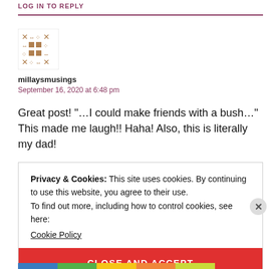LOG IN TO REPLY
[Figure (illustration): Avatar image with a brown pixel/geometric pattern on white background]
millaysmusings
September 16, 2020 at 6:48 pm
Great post! “…I could make friends with a bush…” This made me laugh!! Haha! Also, this is literally my dad!
Privacy & Cookies: This site uses cookies. By continuing to use this website, you agree to their use.
To find out more, including how to control cookies, see here:
Cookie Policy
CLOSE AND ACCEPT